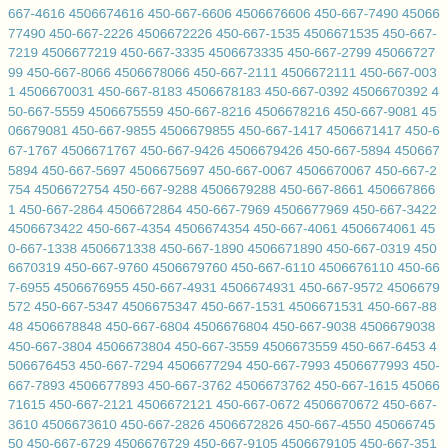667-4616 4506674616 450-667-6606 4506676606 450-667-7490 4506677490 450-667-2226 4506672226 450-667-1535 4506671535 450-667-7219 4506677219 450-667-3335 4506673335 450-667-2799 4506672799 450-667-8066 4506678066 450-667-2111 4506672111 450-667-0031 4506670031 450-667-8183 4506678183 450-667-0392 4506670392 450-667-5559 4506675559 450-667-8216 4506678216 450-667-9081 4506679081 450-667-9855 4506679855 450-667-1417 4506671417 450-667-1767 4506671767 450-667-9426 4506679426 450-667-5894 4506675894 450-667-5697 4506675697 450-667-0067 4506670067 450-667-2754 4506672754 450-667-9288 4506679288 450-667-8661 4506678661 450-667-2864 4506672864 450-667-7969 4506677969 450-667-3422 4506673422 450-667-4354 4506674354 450-667-4061 4506674061 450-667-1338 4506671338 450-667-1890 4506671890 450-667-0319 4506670319 450-667-9760 4506679760 450-667-6110 4506676110 450-667-6955 4506676955 450-667-4931 4506674931 450-667-9572 4506679572 450-667-5347 4506675347 450-667-1531 4506671531 450-667-8848 4506678848 450-667-6804 4506676804 450-667-9038 4506679038 450-667-3804 4506673804 450-667-3559 4506673559 450-667-6453 4506676453 450-667-7294 4506677294 450-667-7993 4506677993 450-667-7893 4506677893 450-667-3762 4506673762 450-667-1615 4506671615 450-667-2121 4506672121 450-667-0672 4506670672 450-667-3610 4506673610 450-667-2826 4506672826 450-667-4550 4506674550 450-667-6729 4506676729 450-667-9105 4506679105 450-667-3510 4506673510 450-667-5402 4506675402 450-667-2693 4506672693 450-667-1634 4506671634 450-667-8746 4506678746 450-667-6408 4506676408 450-667-5877 4506675877 450-667-3537 4506673537 450-667-1638